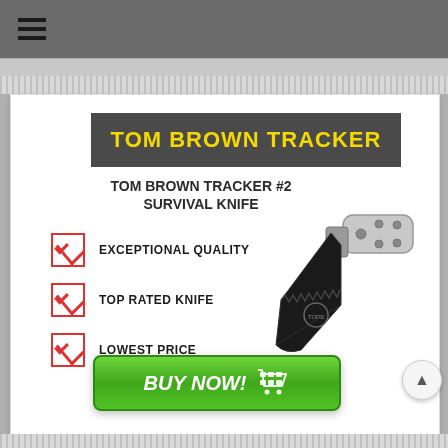Navigation menu bar
TOM BROWN TRACKER
TOM BROWN TRACKER #2 SURVIVAL KNIFE
EXCEPTIONAL QUALITY
TOP RATED KNIFE
LOWEST PRICE
[Figure (illustration): A survival knife with silver/grey handle and black serrated blade]
BUY NOW!